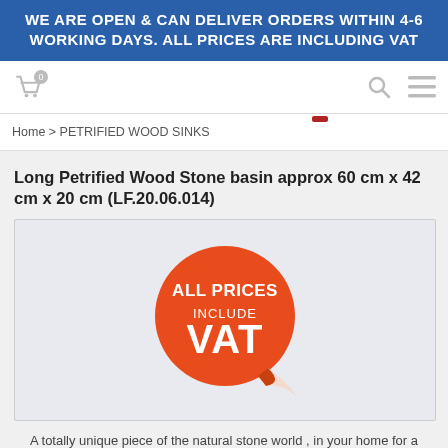WE ARE OPEN & CAN DELIVER ORDERS WITHIN 4-6 WORKING DAYS. ALL PRICES ARE INCLUDING VAT
[Figure (screenshot): Navigation bar with shopping cart icon showing 0 items, search icon, and hamburger menu icon]
Home > PETRIFIED WOOD SINKS
Long Petrified Wood Stone basin approx 60 cm x 42 cm x 20 cm (LF.20.06.014)
[Figure (illustration): Orange circular sticker with text ALL PRICES INCLUDE VAT with curled bottom-right corner on light blue-grey background]
A totally unique piece of the natural stone world , in your home for a sensational price of just £499.99 inc of VAT
Petrified Wood is one of the worlds most stunning materials and takes